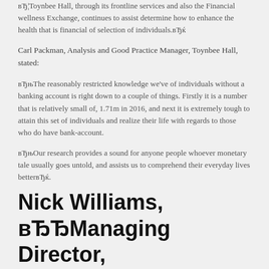вЂ¦Toynbee Hall, through its frontline services and also the Financial wellness Exchange, continues to assist determine how to enhance the health that is financial of selection of individuals.вЂќ
Carl Packman, Analysis and Good Practice Manager, Toynbee Hall, stated:
вЂњThe reasonably restricted knowledge we've of individuals without a banking account is right down to a couple of things. Firstly it is a number that is relatively small of, 1.71m in 2016, and next it is extremely tough to attain this set of individuals and realize their life with regards to those who do have bank-account.
вЂњOur research provides a sound for anyone people whoever monetary tale usually goes untold, and assists us to comprehend their everyday lives betterвЂќ.
Nick Williams, вЂЂManaging Director, Customer Digital, Lloyds Banking Group, stated: